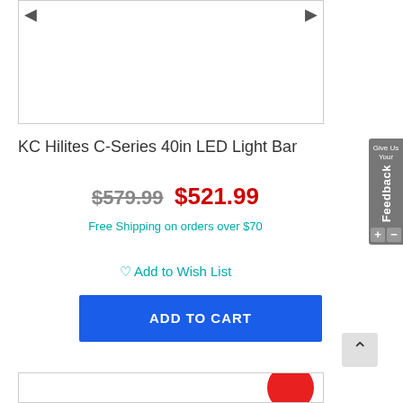[Figure (photo): Product image area for KC Hilites C-Series 40in LED Light Bar with left and right navigation arrows]
KC Hilites C-Series 40in LED Light Bar
$579.99 $521.99
Free Shipping on orders over $70
Add to Wish List
ADD TO CART